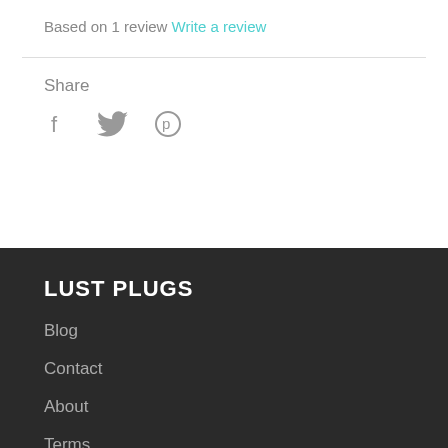Based on 1 review Write a review
Share
[Figure (other): Social media share icons: Facebook (f), Twitter (bird), Pinterest (p)]
LUST PLUGS
Blog
Contact
About
Terms
Refund Policy